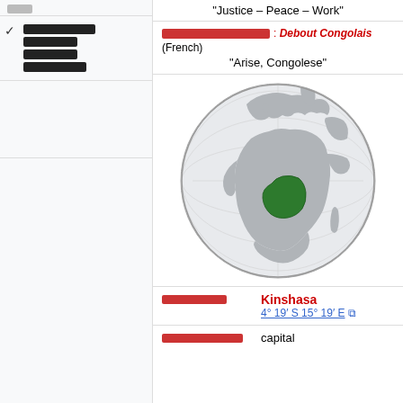"Justice – Peace – Work"
: Debout Congolais (French)
"Arise, Congolese"
[Figure (map): Globe map showing Democratic Republic of Congo highlighted in dark green on the African continent]
|         | Kinshasa
4° 19′ S 15° 19′ E ⧉ |
|               | capital |